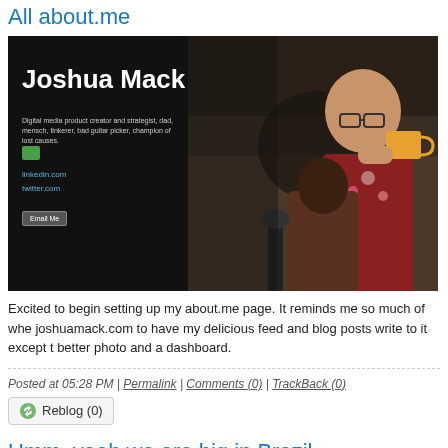All about.me
[Figure (screenshot): Screenshot of Joshua Mack's about.me profile page showing his name, description as 'Digital media product creator and strategist, dad, mensch, tinkerer, bad guitar picker, champion of lost causes.', links to linkedin.com and twitter.com, an Email Me button, and a photo of a man wearing glasses and a floral shirt drinking from a mug]
Excited to begin setting up my about.me page. It reminds me so much of when I used joshuamack.com to have my delicious feed and blog posts write to it except this has a better photo and a dashboard.
Posted at 05:28 PM | Permalink | Comments (0) | TrackBack (0)
Reblog (0)
Umm, yeah we are big in Brazil